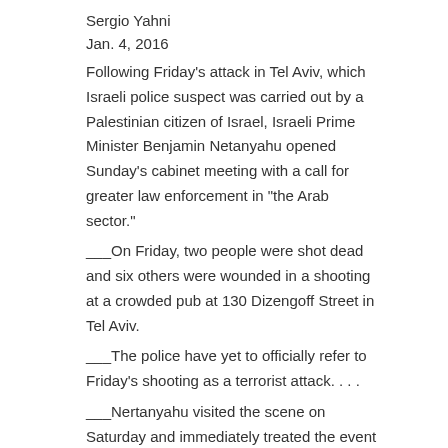Sergio Yahni
Jan. 4, 2016
Following Friday’s attack in Tel Aviv, which Israeli police suspect was carried out by a Palestinian citizen of Israel, Israeli Prime Minister Benjamin Netanyahu opened Sunday’s cabinet meeting with a call for greater law enforcement in “the Arab sector.”
___On Friday, two people were shot dead and six others were wounded in a shooting at a crowded pub at 130 Dizengoff Street in Tel Aviv.
___The police have yet to officially refer to Friday’s shooting as a terrorist attack. . . .
___Nertanyahu visited the scene on Saturday and immediately treated the event as a terrorist attack.   More…
➅ Opinion/Analysis
INTIFADA PALESTINE
THE ROAD TO HELL IS PAVED WITH ‘NATIONAL SECURITY’